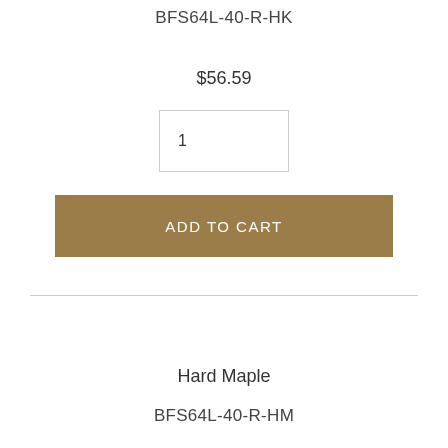BFS64L-40-R-HK
$56.59
1
ADD TO CART
Hard Maple
BFS64L-40-R-HM